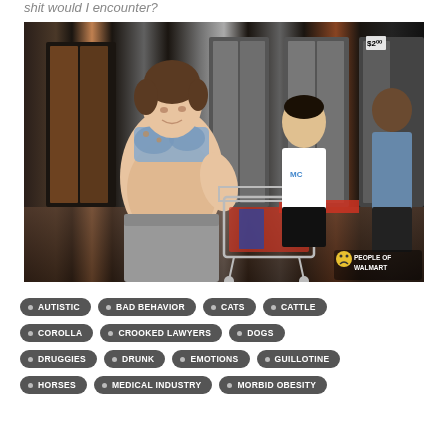shit would I encounter?
[Figure (photo): Photo of a large woman in a bikini top and grey sweatpants pushing a shopping cart in a store freezer aisle, with other shoppers in the background. Watermark reads PEOPLE OF WALMART.]
AUTISTIC
BAD BEHAVIOR
CATS
CATTLE
COROLLA
CROOKED LAWYERS
DOGS
DRUGGIES
DRUNK
EMOTIONS
GUILLOTINE
HORSES
MEDICAL INDUSTRY
MORBID OBESITY